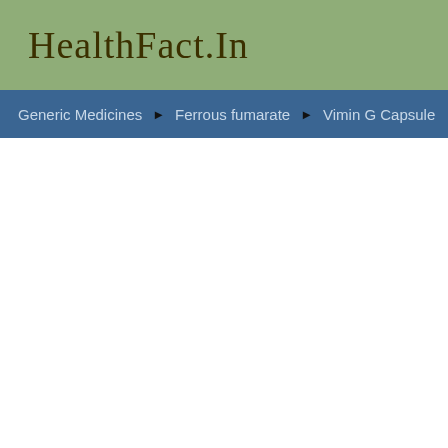HealthFact.In
Generic Medicines ► Ferrous fumarate ► Vimin G Capsule